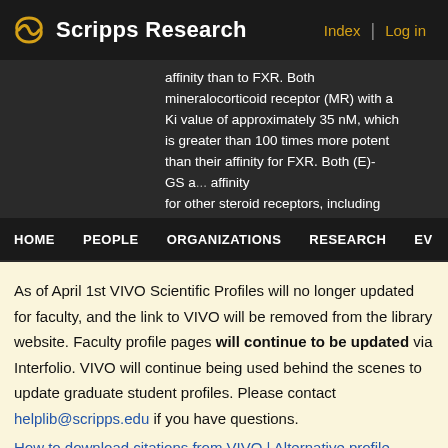Scripps Research — Index | Log in
affinity than to FXR. Both mineralocorticoid receptor (MR) with a Ki value of approximately 35 nM, which is greater than 100 times more potent than their affinity for FXR. Both (E)-GS a... affinity for other steroid receptors, including the androgen (AR), glucocorticoid
HOME | PEOPLE | ORGANIZATIONS | RESEARCH | EV
As of April 1st VIVO Scientific Profiles will no longer updated for faculty, and the link to VIVO will be removed from the library website. Faculty profile pages will continue to be updated via Interfolio. VIVO will continue being used behind the scenes to update graduate student profiles. Please contact helplib@scripps.edu if you have questions.
How to download citations from VIVO | Alternative profile options
and PR. These data suggest that the variety of pharmacological effects exhibited by GS may be mediated by targeting several steroid receptors.